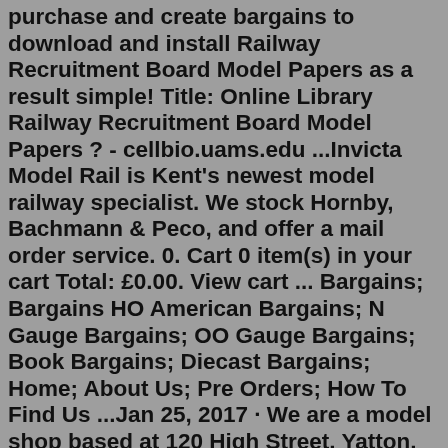purchase and create bargains to download and install Railway Recruitment Board Model Papers as a result simple! Title: Online Library Railway Recruitment Board Model Papers ? - cellbio.uams.edu ...Invicta Model Rail is Kent's newest model railway specialist. We stock Hornby, Bachmann & Peco, and offer a mail order service. 0. Cart 0 item(s) in your cart Total: £0.00. View cart ... Bargains; Bargains HO American Bargains; N Gauge Bargains; OO Gauge Bargains; Book Bargains; Diecast Bargains; Home; About Us; Pre Orders; How To Find Us ...Jan 25, 2017 · We are a model shop based at 120 High Street, Yatton, Somerset, BS49 4DH Email- sales@brunelmodelrailways.co.uk Mobile - 07722437046 It's incredible, It's bargain madness at the model shop. In this episode we look at what could possibly be the best bargain purchase I have made so far in Mo...Set the foundations of your model railway layout with our high-quality model railway track, control equipment, and model railway accessories at the best prices. ... Bargain Bin. Plastic Kits & Diecast